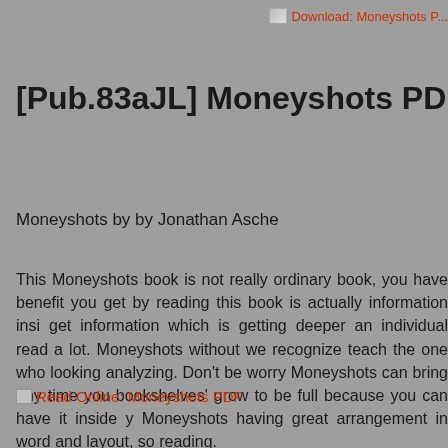[Figure (other): Broken image placeholder for Download: Moneyshots link]
[Pub.83aJL] Moneyshots PDF | by Jonath
Moneyshots by by Jonathan Asche
This Moneyshots book is not really ordinary book, you have benefit you get by reading this book is actually information insi get information which is getting deeper an individual read a lot. Moneyshots without we recognize teach the one who looking analyzing. Don't be worry Moneyshots can bring any time you bookshelves' grow to be full because you can have it inside y Moneyshots having great arrangement in word and layout, so reading.
[Figure (other): Broken image placeholder for Read Online: Moneyshots PDF link]